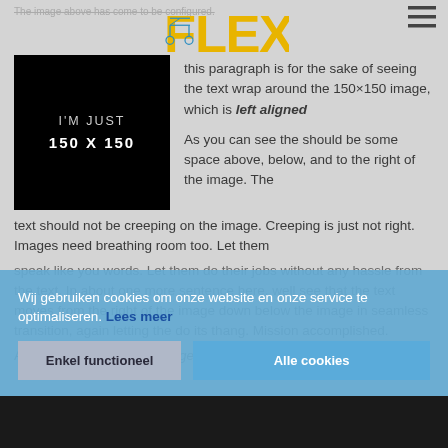[Figure (logo): FLEXY logo with scooter graphic in yellow and blue]
[Figure (other): Hamburger menu icon (three horizontal lines)]
The image above has come to be configured.
[Figure (other): Black placeholder image box with text 'I'M JUST 150 X 150']
this paragraph is for the sake of seeing the text wrap around the 150×150 image, which is left aligned
As you can see the should be some space above, below, and to the right of the image. The text should not be creeping on the image. Creeping is just not right. Images need breathing room too. Let them
speak like you words. Let them do their jobs without any hassle from the text. In about one more sentence here, well see that the text moves from the right of the image down below the image in seamless transition, again letting the do its thang. Mission accomplished.
And now for a massively large image, it also has no alignment.
Wij gebruiken cookies om onze website en onze service te optimaliseren. Lees meer
Enkel functioneel
Alle cookies
[Figure (other): Dark bottom image strip]